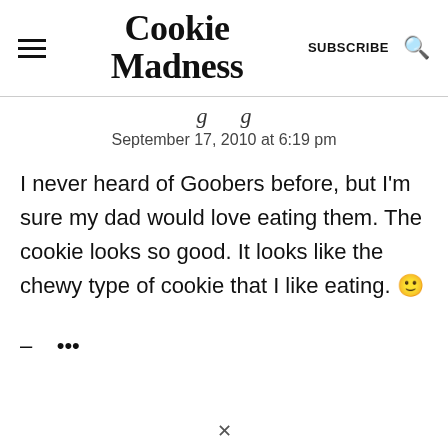Cookie Madness | SUBSCRIBE
September 17, 2010 at 6:19 pm
I never heard of Goobers before, but I'm sure my dad would love eating them. The cookie looks so good. It looks like the chewy type of cookie that I like eating. 🙂